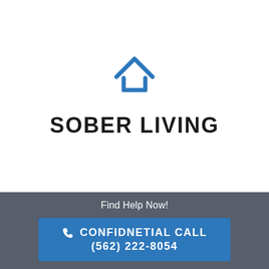[Figure (logo): Blue house/home icon outline — a triangular roof with an open bottom representing a house silhouette]
SOBER LIVING
Find Help Now!
CONFIDNETIAL CALL (562) 222-8054